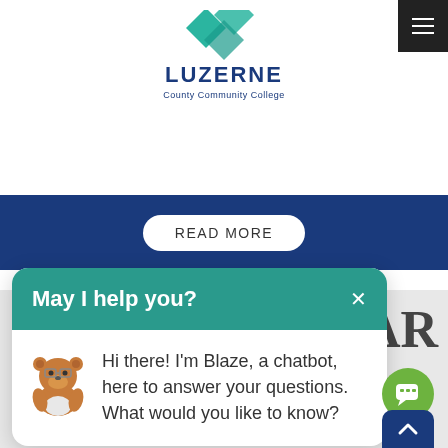[Figure (logo): Luzerne County Community College logo with teal diamond/arrow shapes above text]
[Figure (other): Hamburger menu button (three horizontal lines) in dark/black square, top right corner]
READ MORE
[Figure (screenshot): Calendar icon (grid of squares) in gray on light gray background]
DAR
N
May I help you?
Hi there! I'm Blaze, a chatbot, here to answer your questions. What would you like to know?
[Figure (other): Green circular chat FAB button with chat icon]
[Figure (other): Dark blue scroll-to-top button with upward chevron]